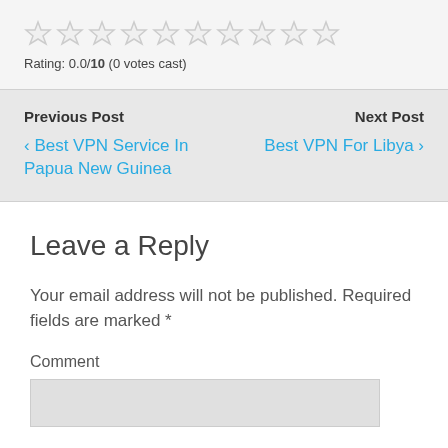[Figure (other): 10 empty star rating icons in a row]
Rating: 0.0/10 (0 votes cast)
Previous Post
‹ Best VPN Service In Papua New Guinea
Next Post
Best VPN For Libya ›
Leave a Reply
Your email address will not be published. Required fields are marked *
Comment